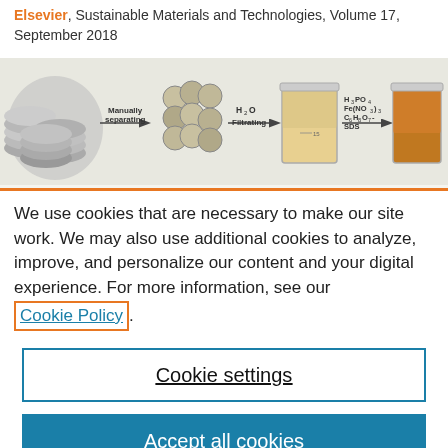Elsevier, Sustainable Materials and Technologies, Volume 17, September 2018
[Figure (schematic): Process flow diagram showing battery cathode recycling steps: manually separating coin cells, H2O filtrating, then adding H3PO4, Fe(NO3)3, C6H8O7, SDS reagents to produce a liquid product in a beaker.]
We use cookies that are necessary to make our site work. We may also use additional cookies to analyze, improve, and personalize our content and your digital experience. For more information, see our Cookie Policy.
Cookie settings
Accept all cookies